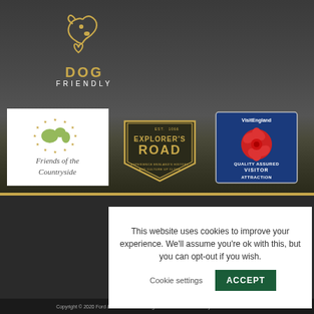[Figure (logo): Dog Friendly logo with dog and heart outline icons above text 'DOG FRIENDLY']
[Figure (logo): Friends of the Countryside logo - white box with map and stars and cursive text]
[Figure (logo): Explorer's Road badge - dark shield with gold border text 'EXPLORER'S ROAD EXPERIENCE ENGLAND'S HISTORY AND CULTURE UP CLOSE']
[Figure (logo): VisitEngland Quality Assured Visitor Attraction badge - blue with red rose]
This website uses cookies to improve your experience. We'll assume you're ok with this, but you can opt-out if you wish.
Cookie settings
ACCEPT
Terms & C...
Heatherslaw Mill Trust is a...
Lady Waterford Hall Tr...
Copyright © 2020 Ford & Etal Estates. All Rights Reserved. Website by ENGINEROOM